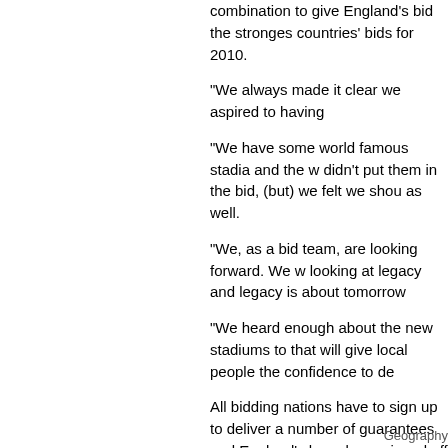combination to give England's bid the strongest countries' bids for 2010.
"We always made it clear we aspired to having
"We have some world famous stadia and the w didn't put them in the bid, (but) we felt we shou as well.
"We, as a bid team, are looking forward. We w looking at legacy and legacy is about tomorrow
"We heard enough about the new stadiums to that will give local people the confidence to de
All bidding nations have to sign up to deliver a number of guarantees and England's have been signed off several months ahead of the May 2010 deadline.
And that, said sports minister Gerry Sutcliffe, was another sign the England bid was back on track after some initial problems with claims of infighting among the board.
Geography